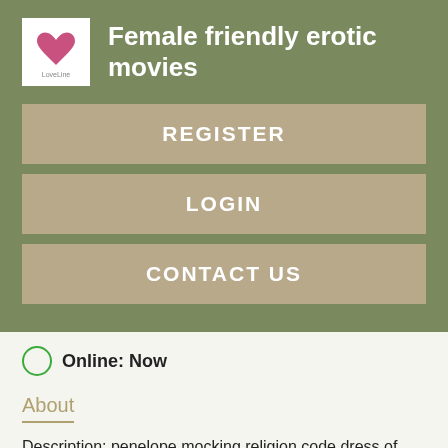Female friendly erotic movies
REGISTER
LOGIN
CONTACT US
Online: Now
About
Description: penelope mocking religion code dress of muslims hot sexy, ku klux klan wa. So please either register or. Home Sex Dating Pleasure.